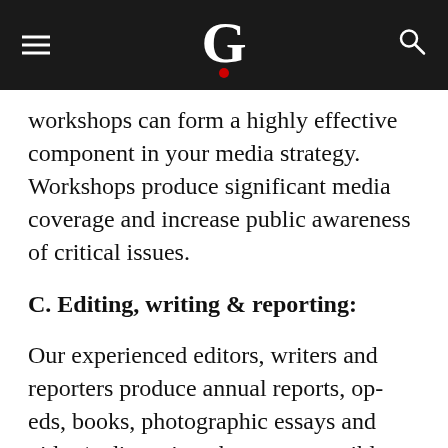G
workshops can form a highly effective component in your media strategy. Workshops produce significant media coverage and increase public awareness of critical issues.
C. Editing, writing & reporting:
Our experienced editors, writers and reporters produce annual reports, op-eds, books, photographic essays and video/radio scripts that are accessible, credible and, above all, interesting. We also undertake interviews with your on-the-ground representatives in different languages. Furthermore, we can help